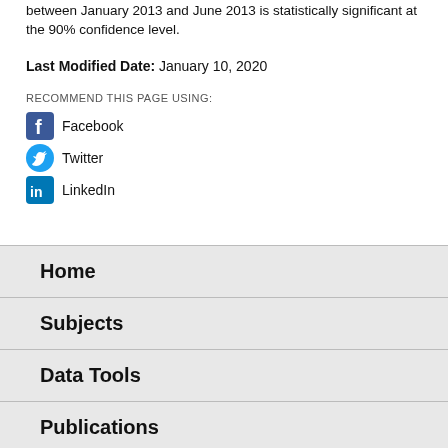between January 2013 and June 2013 is statistically significant at the 90% confidence level.
Last Modified Date: January 10, 2020
RECOMMEND THIS PAGE USING:
Facebook
Twitter
LinkedIn
Home
Subjects
Data Tools
Publications